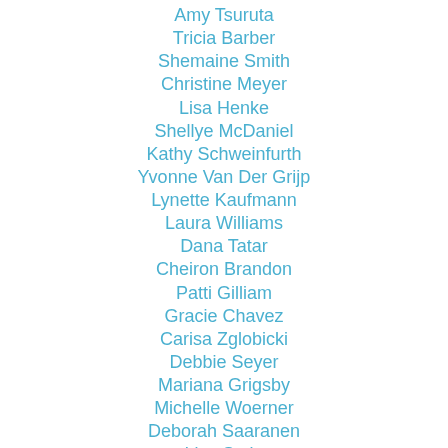Amy Tsuruta
Tricia Barber
Shemaine Smith
Christine Meyer
Lisa Henke
Shellye McDaniel
Kathy Schweinfurth
Yvonne Van Der Grijp
Lynette Kaufmann
Laura Williams
Dana Tatar
Cheiron Brandon
Patti Gilliam
Gracie Chavez
Carisa Zglobicki
Debbie Seyer
Mariana Grigsby
Michelle Woerner
Deborah Saaranen
Lisa Stein
Ceal Pritchett
Kelly Klapstein